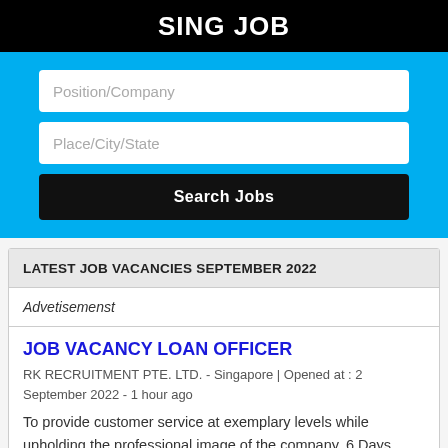SING JOB
[Figure (screenshot): Search box UI with two input fields (Position/Company and Place/City/State) and a Search Jobs button on a cyan/light-blue background]
LATEST JOB VACANCIES SEPTEMBER 2022
Advetisemenst
JOB VACANCY LOAN OFFICER
RK RECRUITMENT PTE. LTD. - Singapore | Opened at : 2 September 2022 - 1 hour ago
To provide customer service at exemplary levels while upholding the professional image of the company. 6 Days